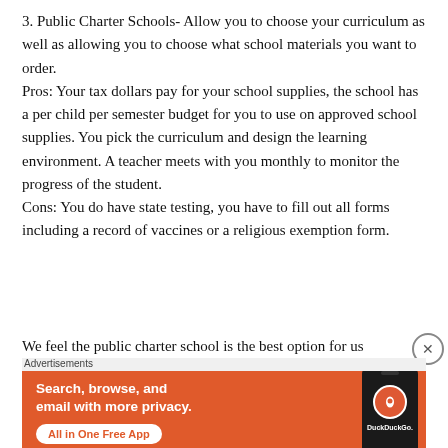3. Public Charter Schools- Allow you to choose your curriculum as well as allowing you to choose what school materials you want to order.
Pros: Your tax dollars pay for your school supplies, the school has a per child per semester budget for you to use on approved school supplies. You pick the curriculum and design the learning environment. A teacher meets with you monthly to monitor the progress of the student.
Cons: You do have state testing, you have to fill out all forms including a record of vaccines or a religious exemption form.
We feel the public charter school is the best option for us
[Figure (screenshot): DuckDuckGo advertisement banner with orange background. Text: 'Search, browse, and email with more privacy. All in One Free App' with a DuckDuckGo logo and phone graphic.]